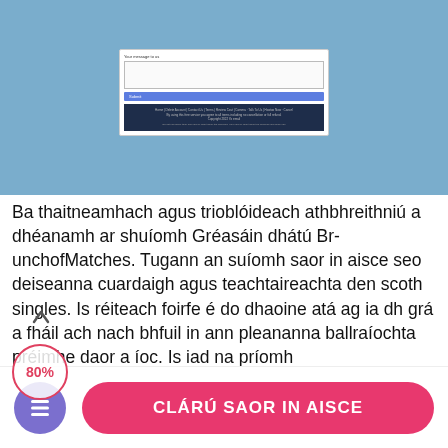[Figure (screenshot): Screenshot of a dating website contact/message form with a textarea, submit button, and dark footer with navigation links, shown against a light blue background.]
Ba thaitneamhach agus trioblóideach athbhreithniú a dhéanamh ar shuíomh Gréasáin dhátú BrunchofMatches. Tugann an suíomh saor in aisce seo deiseanna cuardaigh agus teachtaireachta den scoth singles. Is réiteach foirfe é do dhaoine atá ag lardh grá a fháil ach nach bhfuil in ann pleananna ballraíochta préimhe daor a íoc. Is iad na príomh
[Figure (infographic): 80% circular badge/indicator with upward arrow]
CLÁRÚ SAOR IN AISCE